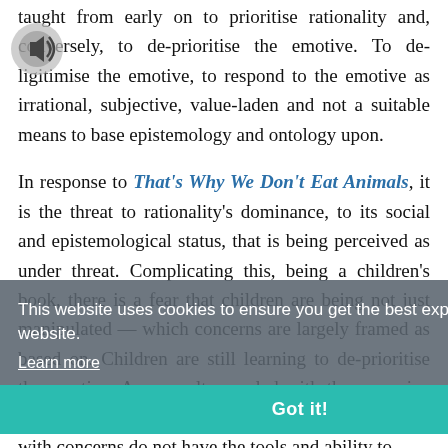taught from early on to prioritise rationality and, conversely, to de-prioritise the emotive. To de-ligitimise the emotive, to respond to the emotive as irrational, subjective, value-laden and not a suitable means to base epistemology and ontology upon.

In response to That's Why We Don't Eat Animals, it is the threat to rationality's dominance, to its social and epistemological status, that is being perceived as under threat. Complicating this, being a children's book, there is a fear that children are being not just manipulated — which concerns are largely framed as based on. Children are still learning to de-prioritise the emotive. As a result, coupled with the excessive socialisation of the norms of (western) society, those with concerns do not have the tools and ability to
This website uses cookies to ensure you get the best experience on our website. Learn more
Got it!